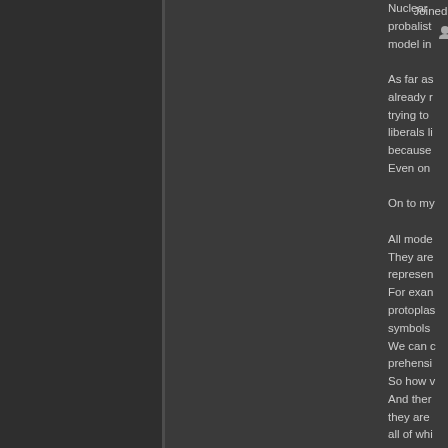Joined: 2006-07-19
Offline
Nuclear probalist model in

As far as already r trying to liberals li because Even on

On to my

All mode They are represen For exam protoplas symbols We can c prehensi So how v And ther they are all of whi But they give way cover all Take, for accordin know my triune sy In other